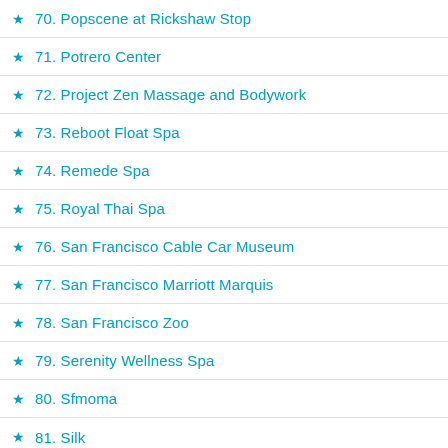70. Popscene at Rickshaw Stop
71. Potrero Center
72. Project Zen Massage and Bodywork
73. Reboot Float Spa
74. Remede Spa
75. Royal Thai Spa
76. San Francisco Cable Car Museum
77. San Francisco Marriott Marquis
78. San Francisco Zoo
79. Serenity Wellness Spa
80. Sfmoma
81. Silk